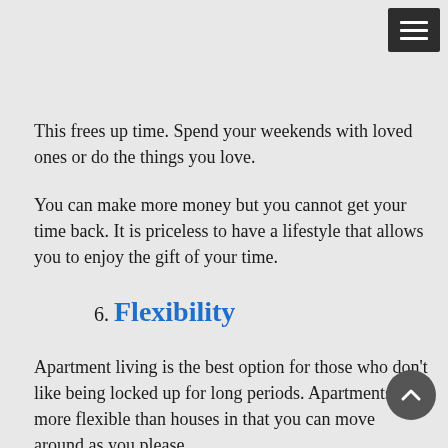[Figure (other): Hamburger menu button icon in dark gray in top-right corner]
This frees up time. Spend your weekends with loved ones or do the things you love.
You can make more money but you cannot get your time back. It is priceless to have a lifestyle that allows you to enjoy the gift of your time.
6. Flexibility
Apartment living is the best option for those who don't like being locked up for long periods. Apartments are more flexible than houses in that you can move around as you please.
Apartments often offer short-term leasing. These lease agreements can be for 3 months, 6 or 12 months. You have more flexibility if corporate living options are offered.